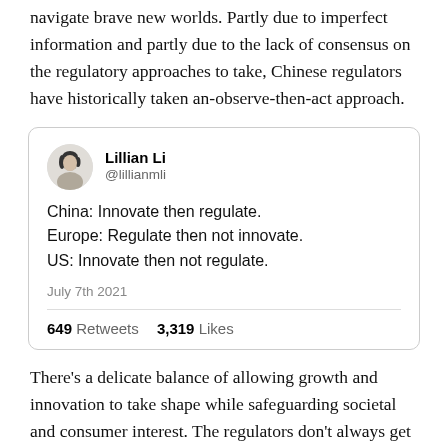navigate brave new worlds. Partly due to imperfect information and partly due to the lack of consensus on the regulatory approaches to take, Chinese regulators have historically taken an-observe-then-act approach.
[Figure (screenshot): Tweet by Lillian Li (@lillianmli) dated July 7th 2021. Tweet text: 'China: Innovate then regulate. Europe: Regulate then not innovate. US: Innovate then not regulate.' Stats: 649 Retweets, 3,319 Likes.]
There's a delicate balance of allowing growth and innovation to take shape while safeguarding societal and consumer interest. The regulators don't always get it right; during the mobile telecom, prior years of the